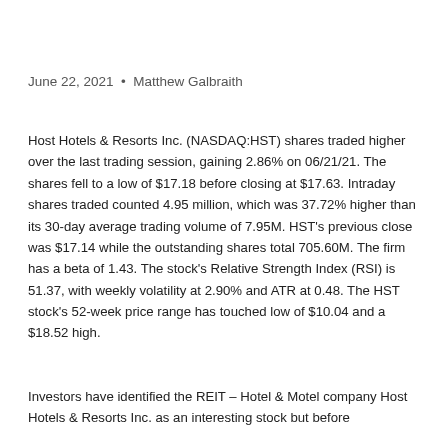June 22, 2021  •  Matthew Galbraith
Host Hotels & Resorts Inc. (NASDAQ:HST) shares traded higher over the last trading session, gaining 2.86% on 06/21/21. The shares fell to a low of $17.18 before closing at $17.63. Intraday shares traded counted 4.95 million, which was 37.72% higher than its 30-day average trading volume of 7.95M. HST's previous close was $17.14 while the outstanding shares total 705.60M. The firm has a beta of 1.43. The stock's Relative Strength Index (RSI) is 51.37, with weekly volatility at 2.90% and ATR at 0.48. The HST stock's 52-week price range has touched low of $10.04 and a $18.52 high.
Investors have identified the REIT – Hotel & Motel company Host Hotels & Resorts Inc. as an interesting stock but before